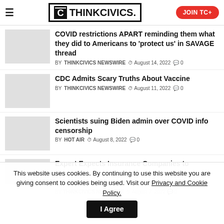ThinkCivics. | JOIN TC+
COVID restrictions APART reminding them what they did to Americans to 'protect us' in SAVAGE thread
BY THINKCIVICS NEWSWIRE  August 14, 2022  0
CDC Admits Scary Truths About Vaccine
BY THINKCIVICS NEWSWIRE  August 11, 2022  0
Scientists suing Biden admin over COVID info censorship
BY HOT AIR  August 8, 2022  0
Expert Expects Insurance Companies to Take Legal Action Against COVID Vaccine Makers Over 'Early' and Unexpected Deaths
BY THINKCIVICS NEWSWIRE  August 7, 2022  0
This website uses cookies. By continuing to use this website you are giving consent to cookies being used. Visit our Privacy and Cookie Policy.
I Agree